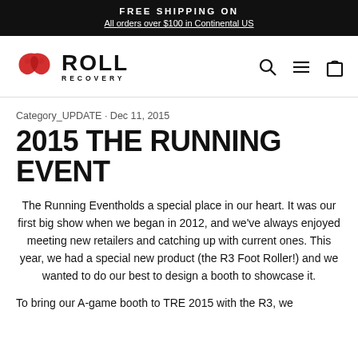FREE SHIPPING ON
All orders over $100 in Continental US
[Figure (logo): Roll Recovery logo with stylized hands icon and ROLL RECOVERY text]
Category_UPDATE · Dec 11, 2015
2015 THE RUNNING EVENT
The Running Eventholds a special place in our heart. It was our first big show when we began in 2012, and we've always enjoyed meeting new retailers and catching up with current ones. This year, we had a special new product (the R3 Foot Roller!) and we wanted to do our best to design a booth to showcase it.
To bring our A-game booth to TRE 2015 with the R3, we